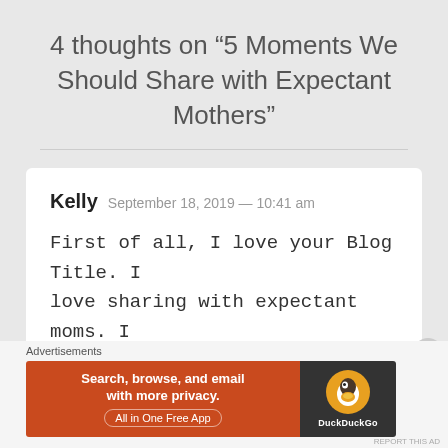4 thoughts on “5 Moments We Should Share with Expectant Mothers”
Kelly  September 18, 2019 — 10:41 am

First of all, I love your Blog Title. I love sharing with expectant moms. I think...
[Figure (screenshot): DuckDuckGo advertisement banner: orange left side with text 'Search, browse, and email with more privacy. All in One Free App' and dark right side with DuckDuckGo duck logo]